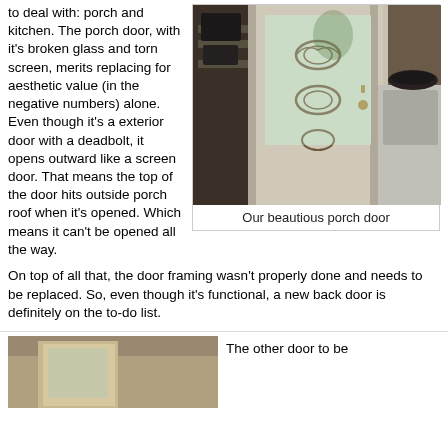to deal with: porch and kitchen. The porch door, with it's broken glass and torn screen, merits replacing for aesthetic value (in the negative numbers) alone. Even though it's a exterior door with a deadbolt, it opens outward like a screen door. That means the top of the door hits outside porch roof when it's opened. Which means it can't be opened all the way.
[Figure (photo): Photo of a white porch door with decorative frosted glass panel and ornamental metal scrollwork, viewed from inside a porch/laundry area. Shelves with items visible on the left, washer/appliance on the right.]
Our beautious porch door
On top of all that, the door framing wasn't properly done and needs to be replaced. So, even though it's functional, a new back door is definitely on the to-do list.
[Figure (photo): Partial photo of another door (bottom of page, cropped)]
The other door to be